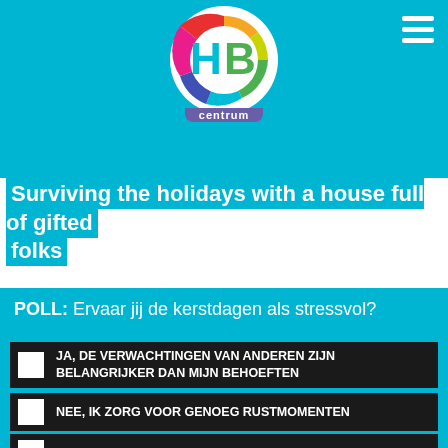[Figure (logo): HB Centrum circular logo with colorful segments and 'centrum' text below]
Surviving the holidays with a house full of gifted folks
POLL: Ervaar jij de kerstdagen als stressvol?
JA, DE VERWACHTINGEN VAN ANDEREN ZIJN BELANGRIJKER DAN MIJN BEHOEFTEN
NEE, IK ZORG VOOR GENOEG RUSTMOMENTEN
NEE, WE MAKEN VOORAF GOEDE AFSPRAKEN
JA, NADERHAND BEN IK AAN VAKANTIE TOE